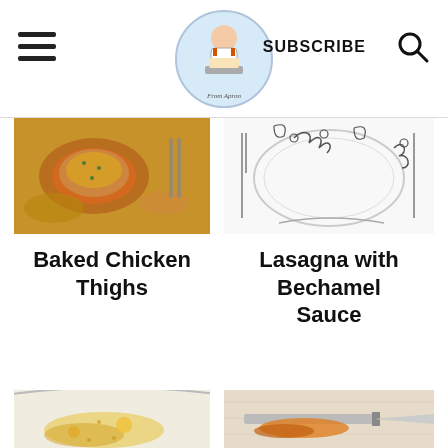Brom Apron - SUBSCRIBE
[Figure (photo): Baked chicken thighs in golden sauce, top-down food photo]
[Figure (illustration): Line drawing illustration of lasagna dish with decorative floral border]
Baked Chicken Thighs
Lasagna with Bechamel Sauce
[Figure (photo): Bowl with yellow/orange seasoning or egg yolk, partially visible]
[Figure (photo): Knife spreading jam or sauce on a light wooden surface]